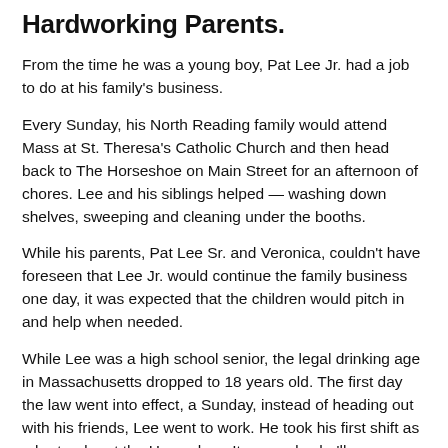Hardworking Parents.
From the time he was a young boy, Pat Lee Jr. had a job to do at his family's business.
Every Sunday, his North Reading family would attend Mass at St. Theresa's Catholic Church and then head back to The Horseshoe on Main Street for an afternoon of chores. Lee and his siblings helped — washing down shelves, sweeping and cleaning under the booths.
While his parents, Pat Lee Sr. and Veronica, couldn't have foreseen that Lee Jr. would continue the family business one day, it was expected that the children would pitch in and help when needed.
While Lee was a high school senior, the legal drinking age in Massachusetts dropped to 18 years old. The first day the law went into effect, a Sunday, instead of heading out with his friends, Lee went to work. He took his first shift as a bartender at the Horseshoe. It was a day he'll never forget, he says with a laugh, as the regulars threw drink names at